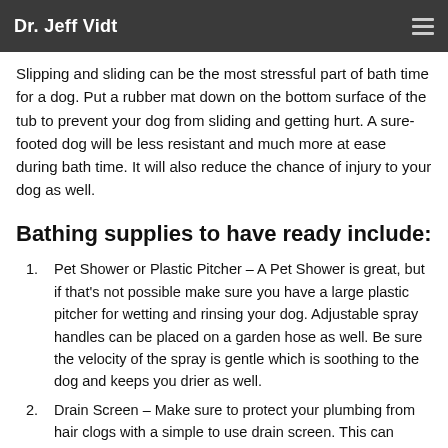Dr. Jeff Vidt
Slipping and sliding can be the most stressful part of bath time for a dog. Put a rubber mat down on the bottom surface of the tub to prevent your dog from sliding and getting hurt. A sure-footed dog will be less resistant and much more at ease during bath time. It will also reduce the chance of injury to your dog as well.
Bathing supplies to have ready include:
Pet Shower or Plastic Pitcher – A Pet Shower is great, but if that's not possible make sure you have a large plastic pitcher for wetting and rinsing your dog. Adjustable spray handles can be placed on a garden hose as well. Be sure the velocity of the spray is gentle which is soothing to the dog and keeps you drier as well.
Drain Screen – Make sure to protect your plumbing from hair clogs with a simple to use drain screen. This can consist of nylon